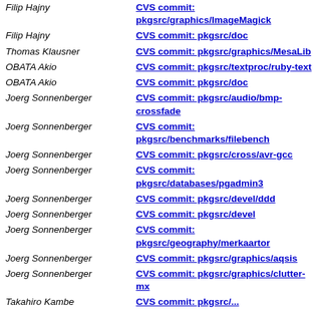Filip Hajny | CVS commit: pkgsrc/graphics/ImageMagick
Filip Hajny | CVS commit: pkgsrc/doc
Thomas Klausner | CVS commit: pkgsrc/graphics/MesaLib
OBATA Akio | CVS commit: pkgsrc/textproc/ruby-text
OBATA Akio | CVS commit: pkgsrc/doc
Joerg Sonnenberger | CVS commit: pkgsrc/audio/bmp-crossfade
Joerg Sonnenberger | CVS commit: pkgsrc/benchmarks/filebench
Joerg Sonnenberger | CVS commit: pkgsrc/cross/avr-gcc
Joerg Sonnenberger | CVS commit: pkgsrc/databases/pgadmin3
Joerg Sonnenberger | CVS commit: pkgsrc/devel/ddd
Joerg Sonnenberger | CVS commit: pkgsrc/devel
Joerg Sonnenberger | CVS commit: pkgsrc/geography/merkaartor
Joerg Sonnenberger | CVS commit: pkgsrc/graphics/aqsis
Joerg Sonnenberger | CVS commit: pkgsrc/graphics/clutter-mx
Takahiro Kambe | CVS commit: pkgsrc/...